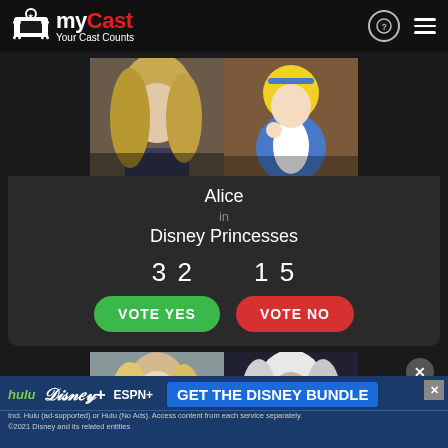myCast — Your Cast Counts
[Figure (screenshot): Split image: left side shows a blonde woman (real person), right side shows Alice from Disney animation (blue dress, blonde hair)]
Alice
in
Disney Princesses
3 2    1 5
VOTE YES    VOTE NO
[Figure (screenshot): Second card: split image showing blonde woman on left and comic-book style Silver Sable character on right]
[Figure (screenshot): Ad banner: GET THE DISNEY BUNDLE — hulu, Disney+, ESPN+. Incl. Hulu (ad-supported) or Hulu (No Ads). Access content from each service separately. ©2021 Disney and its related entities]